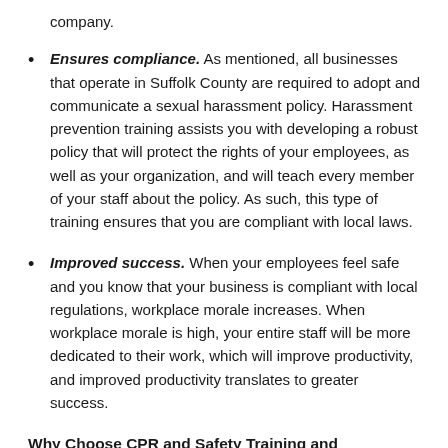company.
Ensures compliance. As mentioned, all businesses that operate in Suffolk County are required to adopt and communicate a sexual harassment policy. Harassment prevention training assists you with developing a robust policy that will protect the rights of your employees, as well as your organization, and will teach every member of your staff about the policy. As such, this type of training ensures that you are compliant with local laws.
Improved success. When your employees feel safe and you know that your business is compliant with local regulations, workplace morale increases. When workplace morale is high, your entire staff will be more dedicated to their work, which will improve productivity, and improved productivity translates to greater success.
Why Choose CPR and Safety Training and Consulting, LLC for Your Harassment Training Needs?